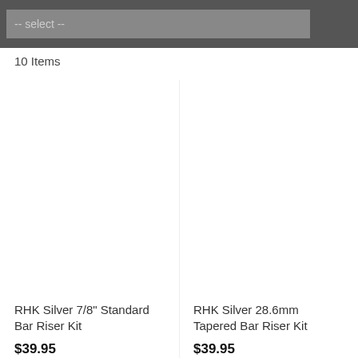-- select --
10 Items
RHK Silver 7/8" Standard Bar Riser Kit
$39.95
RHK Silver 28.6mm Tapered Bar Riser Kit
$39.95